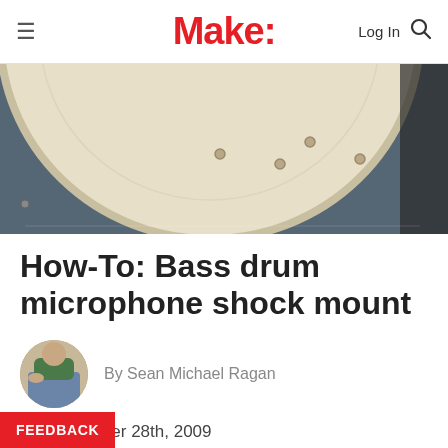Make: Log In [search]
[Figure (photo): Close-up photo of a bass drum head (white/cream colored circular drum head) viewed from above, against a dark blue-grey carpet background. Several small holes visible on the drum head.]
How-To: Bass drum microphone shock mount
By Sean Michael Ragan
December 28th, 2009
Instructables user brainparts built this acoustically-isolated microphone mounting ring for a bass drum using bungee cords and a short ...